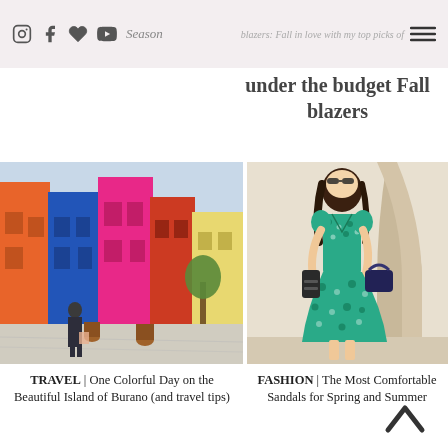wishlist for Sweater Season | blazers: Fall in love with my top picks of under the budget Fall blazers
under the budget Fall blazers
[Figure (photo): Colorful buildings on the island of Burano, Italy, with a woman in a dark floral dress walking away from the camera on a cobblestone street]
[Figure (photo): Woman in a green floral midi dress holding sandals and a handbag, walking outdoors near a stone building]
TRAVEL | One Colorful Day on the Beautiful Island of Burano (and travel tips)
FASHION | The Most Comfortable Sandals for Spring and Summer